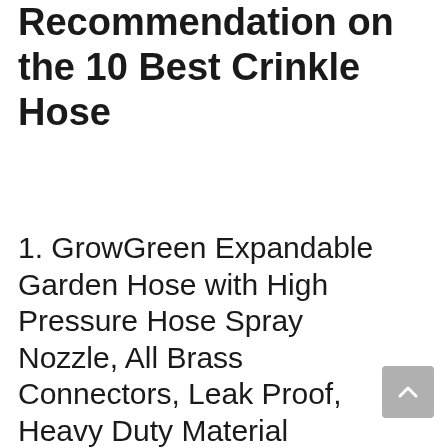Recommendation on the 10 Best Crinkle Hose
1. GrowGreen Expandable Garden Hose with High Pressure Hose Spray Nozzle, All Brass Connectors, Leak Proof, Heavy Duty Material